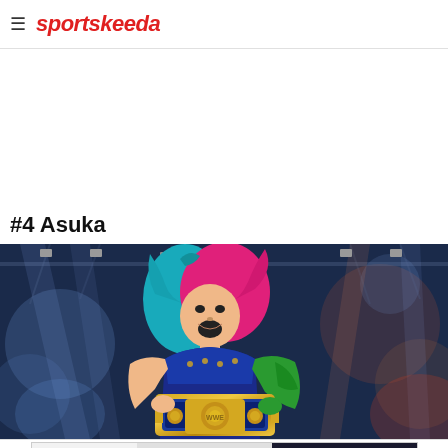sportskeeda
[Figure (other): Advertisement banner (blank white space)]
#4 Asuka
[Figure (photo): Photo of WWE wrestler Asuka with pink and teal hair, holding a WWE championship belt, screaming in celebration at a WWE event with stage lighting in the background]
[Figure (other): Toyota advertisement banner: SEARCH THE LARGEST SELECTION OF INVENTORY - SHOP TOYOTA]